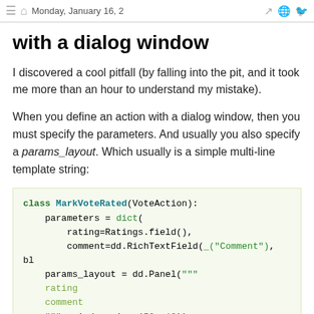≡ ⌂ Monday, January 16, 2...
with a dialog window
I discovered a cool pitfall (by falling into the pit, and it took me more than an hour to understand my mistake).
When you define an action with a dialog window, then you must specify the parameters. And usually you also specify a params_layout. Which usually is a simple multi-line template string:
[Figure (screenshot): Python code block showing class MarkVoteRated(VoteAction) with parameters dict containing rating and comment fields, and params_layout using dd.Panel with rating and comment strings and window_size=(50, 12)]
The pitfall is to use ParamsLayout instead of Panel: